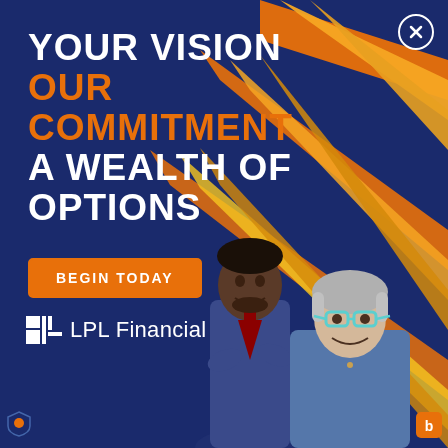[Figure (illustration): LPL Financial advertisement with dark navy blue background, diagonal orange/yellow/gold stripes in upper right, two professionals (a Black man in suit and a white woman with grey hair and blue glasses) in the lower half, and white/orange bold text in the upper left]
YOUR VISION
OUR COMMITMENT
A WEALTH OF OPTIONS
BEGIN TODAY
LPL Financial